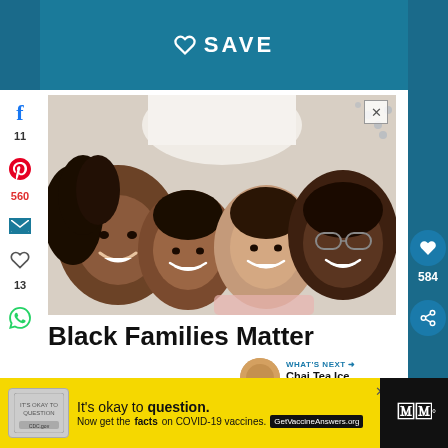SAVE
[Figure (photo): A Black family of four (mother, father, and two children) lying down and smiling up at the camera from a top-down view on a bed]
Black Families Matter
WHAT'S NEXT → Chai Tea Ice Cream
[Figure (infographic): Advertisement: It's okay to question. Now get the facts on COVID-19 vaccines. GetVaccineAnswers.org]
11
560
13
584